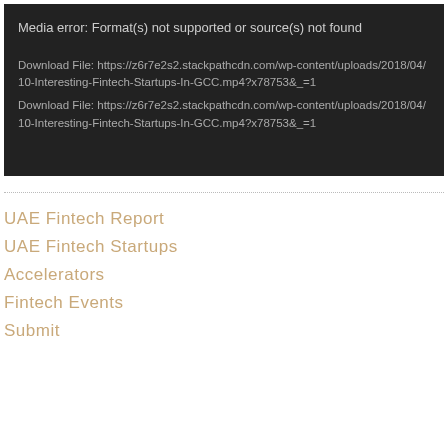[Figure (screenshot): Dark media player error box showing 'Media error: Format(s) not supported or source(s) not found' with two download file links to a Fintech Startups mp4 file on stackpathcdn.com]
UAE Fintech Report
UAE Fintech Startups
Accelerators
Fintech Events
Submit